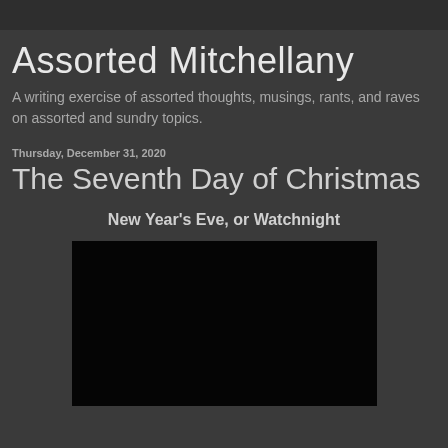Assorted Mitchellany
A writing exercise of assorted thoughts, musings, rants, and raves on assorted and sundry topics.
Thursday, December 31, 2020
The Seventh Day of Christmas
New Year's Eve, or Watchnight
[Figure (photo): A mostly black image, likely a photo with very dark exposure, centered below the subtitle]